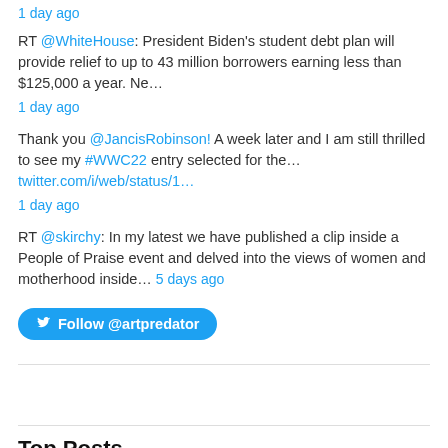1 day ago
RT @WhiteHouse: President Biden's student debt plan will provide relief to up to 43 million borrowers earning less than $125,000 a year. Ne…
1 day ago
Thank you @JancisRobinson! A week later and I am still thrilled to see my #WWC22 entry selected for the… twitter.com/i/web/status/1…
1 day ago
RT @skirchy: In my latest we have published a clip inside a People of Praise event and delved into the views of women and motherhood inside… 5 days ago
Follow @artpredator
Top Posts